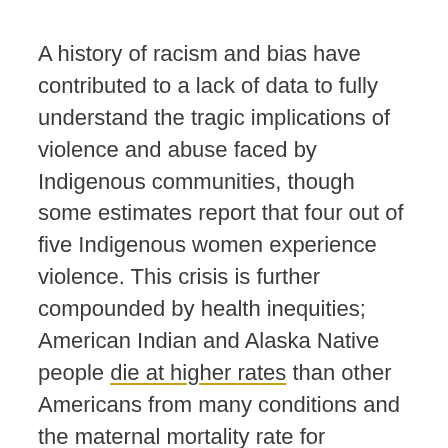A history of racism and bias have contributed to a lack of data to fully understand the tragic implications of violence and abuse faced by Indigenous communities, though some estimates report that four out of five Indigenous women experience violence. This crisis is further compounded by health inequities; American Indian and Alaska Native people die at higher rates than other Americans from many conditions and the maternal mortality rate for American Indians and Alaska Natives is more than twice that of white people.
ACOG continues to partner with the Indian Health Service to address health disparities and ensure that all Indigenous women are provided with compassionate, respectful, patient-centered care. We advocate for policy solutions to improve the federal government's...